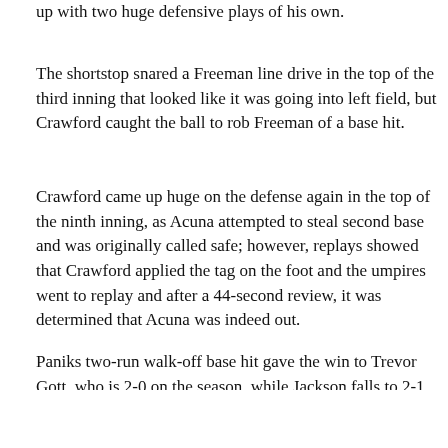up with two huge defensive plays of his own.
The shortstop snared a Freeman line drive in the top of the third inning that looked like it was going into left field, but Crawford caught the ball to rob Freeman of a base hit.
Crawford came up huge on the defense again in the top of the ninth inning, as Acuna attempted to steal second base and was originally called safe; however, replays showed that Crawford applied the tag on the foot and the umpires went to replay and after a 44-second review, it was determined that Acuna was indeed out.
Paniks two-run walk-off base hit gave the win to Trevor Gott, who is 2-0 on the season, while Jackson falls to 2-1.
Anderson, who was making his second start of his career, went five innings, allowing two runs on eight hits, not walking a batter